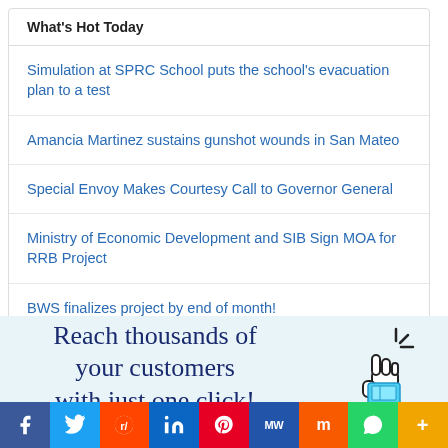What's Hot Today
Simulation at SPRC School puts the school's evacuation plan to a test
Amancia Martinez sustains gunshot wounds in San Mateo
Special Envoy Makes Courtesy Call to Governor General
Ministry of Economic Development and SIB Sign MOA for RRB Project
BWS finalizes project by end of month!
[Figure (infographic): Ad banner with cursive text: Reach thousands of your customers with just one click! with a hand pointer icon and smartphone graphic]
Social sharing bar: Facebook, Twitter, Reddit, LinkedIn, Pinterest, MW, Mix, WhatsApp, More